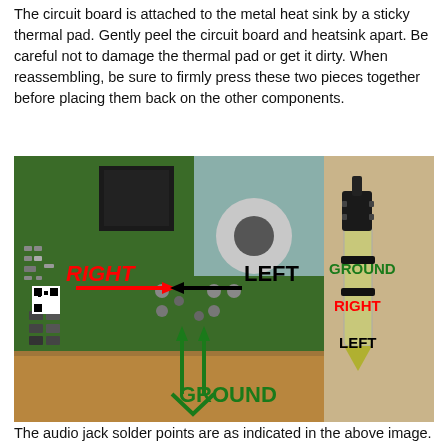The circuit board is attached to the metal heat sink by a sticky thermal pad. Gently peel the circuit board and heatsink apart. Be careful not to damage the thermal pad or get it dirty. When reassembling, be sure to firmly press these two pieces together before placing them back on the other components.
[Figure (photo): Photo of a circuit board (green PCB) with labeled solder points: RIGHT (red arrow pointing right), LEFT (black arrow pointing left), GROUND (green arrows pointing up from bottom). Adjacent photo of a 3.5mm audio jack plug with labels: GROUND (green, top), RIGHT (red, middle), LEFT (black, bottom).]
The audio jack solder points are as indicated in the above image.